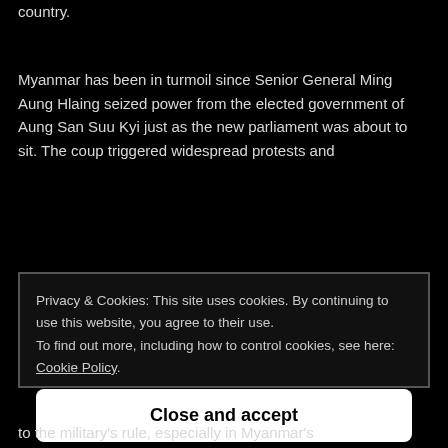country.
Myanmar has been in turmoil since Senior General Ming Aung Hlaing seized power from the elected government of Aung San Suu Kyi just as the new parliament was about to sit. The coup triggered widespread protests and
Privacy & Cookies: This site uses cookies. By continuing to use this website, you agree to their use.
To find out more, including how to control cookies, see here: Cookie Policy
Close and accept
to the military's rule, especially in Myanmar's